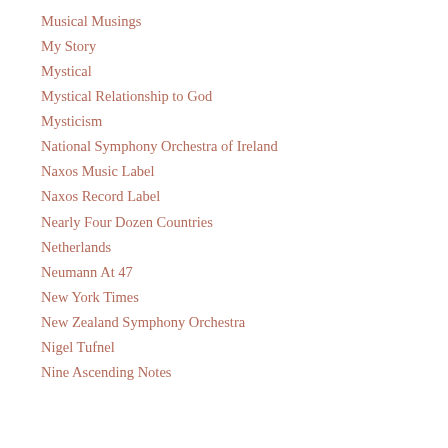Musical Musings
My Story
Mystical
Mystical Relationship to God
Mysticism
National Symphony Orchestra of Ireland
Naxos Music Label
Naxos Record Label
Nearly Four Dozen Countries
Netherlands
Neumann At 47
New York Times
New Zealand Symphony Orchestra
Nigel Tufnel
Nine Ascending Notes